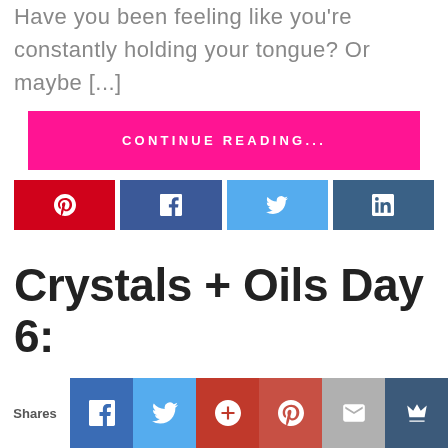Have you been feeling like you're constantly holding your tongue? Or maybe [...]
CONTINUE READING...
[Figure (other): Four social share buttons: Pinterest (red), Facebook (blue), Twitter (light blue), LinkedIn (dark blue)]
Crystals + Oils Day 6:
[Figure (other): Bottom social share bar with Shares label and buttons: Facebook, Twitter, Google+, Pinterest, Email, Crown/bookmark]